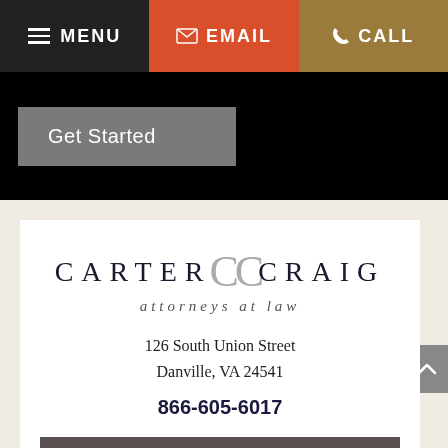MENU | EMAIL | CALL
Get Started
CARTER CC CRAIG attorneys at law
126 South Union Street
Danville, VA 24541
866-605-6017
Danville Law Office